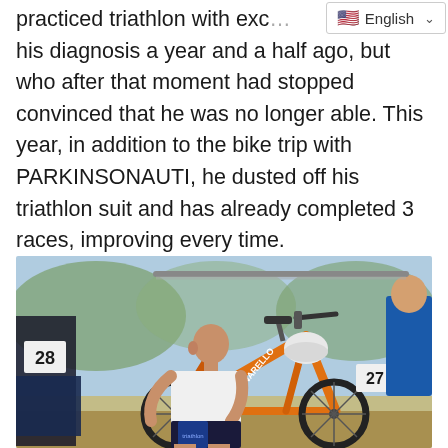practiced triathlon with exc... his diagnosis a year and a half ago, but who after that moment had stopped convinced that he was no longer able. This year, in addition to the bike trip with PARKINSONAUTI, he dusted off his triathlon suit and has already completed 3 races, improving every time.
[Figure (photo): A bald man in a white t-shirt and triathlon shorts crouched next to an orange Pinarello racing bike, adjusting his shoe. Bike has number 27 tag. Another bike with number 28 is visible to the left. A person in blue clothing stands behind.]